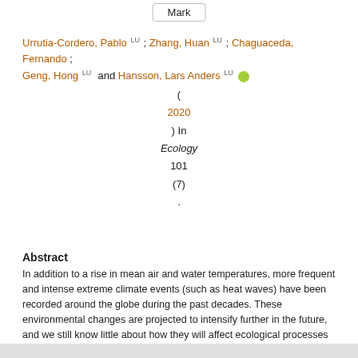Mark
Urrutia-Cordero, Pablo LU ; Zhang, Huan LU ; Chaguaceda, Fernando ; Geng, Hong LU and Hansson, Lars Anders LU
( 2020 ) In Ecology 101 (7) .
Abstract
In addition to a rise in mean air and water temperatures, more frequent and intense extreme climate events (such as heat waves) have been recorded around the globe during the past decades. These environmental changes are projected to intensify further in the future, and we still know little about how they will affect ecological processes driving harmful cyanobacterial bloom formation. Therefore, we conducted a long-term experiment in 400-L shallow freshwater mesocosms, where we evaluated the effects of a constant +4°C increase in mean water temperatures and compared it with a fluctuating warming scenario ranging from 0 to +8°C (i.e., including heat waves) but with the same +4°C long-term elevation in mean water temperatures. We focused... (More)